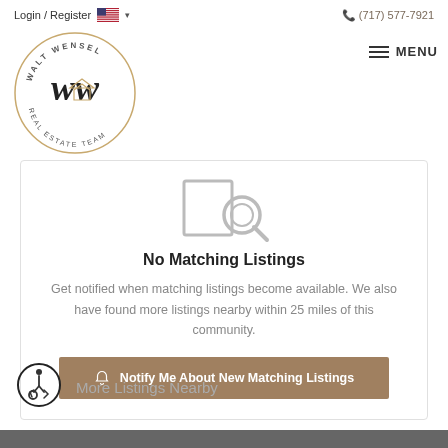Login / Register  (717) 577-7921
[Figure (logo): Walt Wensel Real Estate Team circular logo with script 'ww' lettering]
[Figure (illustration): Search icon - magnifying glass over document]
No Matching Listings
Get notified when matching listings become available. We also have found more listings nearby within 25 miles of this community.
[Figure (other): Notify Me About New Matching Listings button]
More Listings Nearby
[Figure (other): Wheelchair accessibility icon]